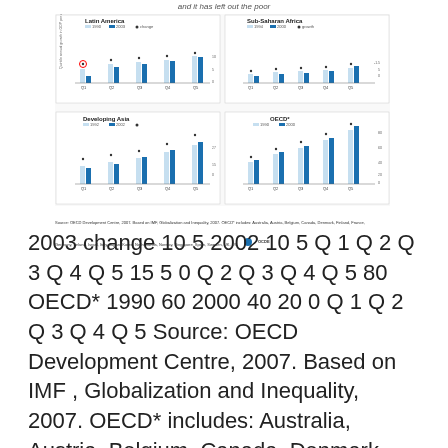and it has left out the poor
[Figure (grouped-bar-chart): Four panel chart showing quintile annual growth in GDP per capita for Latin America, Sub-Saharan Africa, Developing Asia, and OECD*. Each panel shows bars for 1990/1992/1994 and 2000/2002/2003, with dots indicating change/growth, for quintiles Q1-Q5.]
Source: OECD Development Centre, 2007. Based on IMF, Globalization and Inequality, 2007. OECD* includes: Australia, Austria, Belgium, Canada, Denmark, Finland, France, Germany, Ireland, Israel, Italy, Japan, Korea, Netherlands, Norway, Singapore, Spain, Sweden, UK, US.
2003 change 10 5 2002 10 5 Q 1 Q 2 Q 3 Q 4 Q 5 15 5 0 Q 2 Q 3 Q 4 Q 5 80 OECD* 1990 60 2000 40 20 0 Q 1 Q 2 Q 3 Q 4 Q 5 Source: OECD Development Centre, 2007. Based on IMF , Globalization and Inequality, 2007. OECD* includes: Australia, Austria, Belgium, Canada, Denmark, Finland, France, Germany, Ireland, Israel, Italy, Japan, Korea, Netherlands, Norway, Singapore, Spain, Sweden, UK, US. by 0 Quintile annual growth in GDP per capita 1992 Thousands 1 5 by Quintile annual growth in GDP per capita 20 7 6 5 4 3 2 1 0 growth GDP p